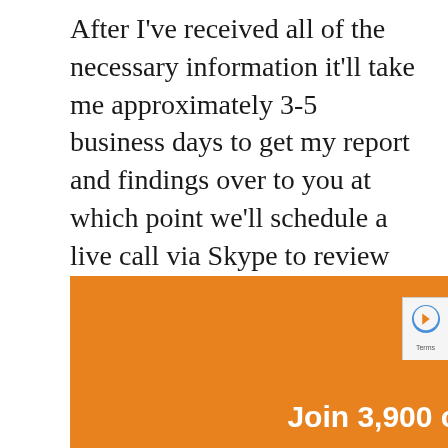After I've received all of the necessary information it'll take me approximately 3-5 business days to get my report and findings over to you at which point we'll schedule a live call via Skype to review everything.
[Figure (infographic): Orange banner with white text reading 'Join 3,900 other real estate']